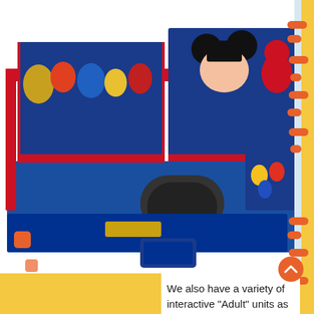[Figure (photo): Inflatable Disney-themed bounce house with Mickey Mouse and other Disney characters on the exterior panels, red and blue colors, with an entrance tunnel at the bottom.]
We also have a variety of interactive "Adult" units as well, like our Rock and Roll Boxing/Just combo, Bungee Basketball, the Velcro Wall, a 24' High Giant Slide, and more. Just Click on Inflatables and browse thru our catalog.
We have found the old saying "You get what you pay for" to be absolutely